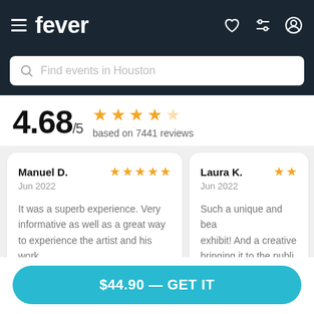fever
Find events in Houston
4.68/5 based on 7441 reviews
Manuel D.
Jun 2022
It was a superb experience. Very informative as well as a great way to experience the artist and his work.
Laura K.
Jun 2022
Such a unique and bea[utiful] exhibit! And a creative [way of] bringing it to the publi[c]
$44.90 — GET IT